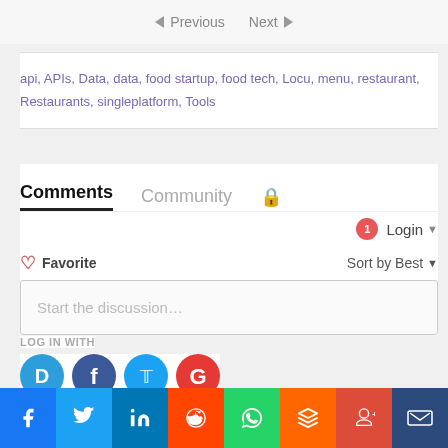Previous  Next
api, APIs, Data, data, food startup, food tech, Locu, menu, restaurant, Restaurants, singleplatform, Tools
Comments  Community
Login
Favorite  Sort by Best
Start the discussion…
LOG IN WITH
Share via Facebook, Twitter, LinkedIn, Reddit, WhatsApp, Hacker News, Google+, Crown